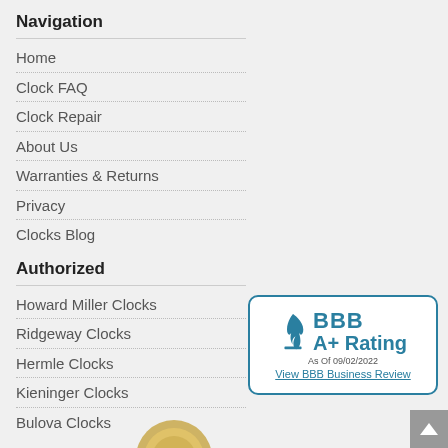Navigation
Home
Clock FAQ
Clock Repair
About Us
Warranties & Returns
Privacy
Clocks Blog
Authorized
Howard Miller Clocks
Ridgeway Clocks
Hermle Clocks
Kieninger Clocks
Bulova Clocks
[Figure (logo): BBB A+ Rating badge, As Of 09/02/2022, View BBB Business Review]
[Figure (photo): Partial medal/seal visible at bottom of page]
[Figure (other): Scroll-to-top button in bottom right corner]